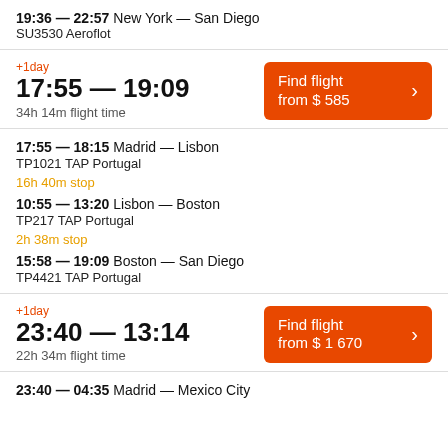19:36 — 22:57 New York — San Diego
SU3530 Aeroflot
+1day
17:55 — 19:09
34h 14m flight time
Find flight from $ 585
17:55 — 18:15 Madrid — Lisbon
TP1021 TAP Portugal
16h 40m stop
10:55 — 13:20 Lisbon — Boston
TP217 TAP Portugal
2h 38m stop
15:58 — 19:09 Boston — San Diego
TP4421 TAP Portugal
+1day
23:40 — 13:14
22h 34m flight time
Find flight from $ 1 670
23:40 — 04:35 Madrid — Mexico City